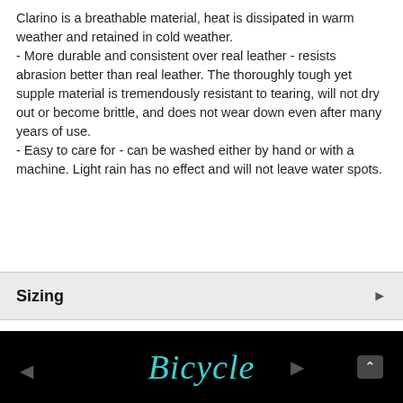Clarino is a breathable material, heat is dissipated in warm weather and retained in cold weather.
- More durable and consistent over real leather - resists abrasion better than real leather. The thoroughly tough yet supple material is tremendously resistant to tearing, will not dry out or become brittle, and does not wear down even after many years of use.
- Easy to care for - can be washed either by hand or with a machine. Light rain has no effect and will not leave water spots.
Sizing
[Figure (logo): Black footer bar with 'Bicycle' written in teal cursive/script font, with navigation arrows on sides and a chevron-up button.]